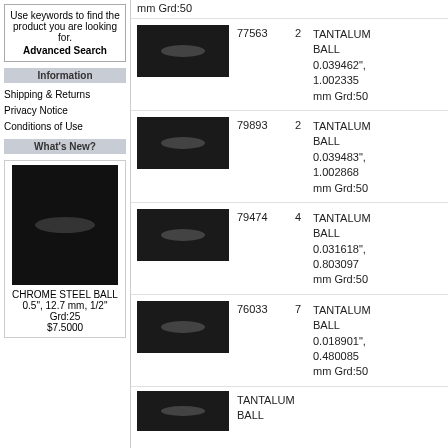Use keywords to find the product you are looking for. Advanced Search
Information
Shipping & Returns
Privacy Notice
Conditions of Use
What's New?
[Figure (photo): Chrome steel ball product image]
CHROME STEEL BALL 0.5", 12.7 mm, 1/2" Grd:25 $7.5000
[Figure (photo): Tantalum ball product image - item 77563]
TANTALUM BALL 0.039462", 1.002335 mm Grd:50
77563
2
[Figure (photo): Tantalum ball product image - item 79893]
TANTALUM BALL 0.039483", 1.002868 mm Grd:50
79893
2
[Figure (photo): Tantalum ball product image - item 79474]
TANTALUM BALL 0.031618", 0.803097 mm Grd:50
79474
4
[Figure (photo): Tantalum ball product image - item 76033]
TANTALUM BALL 0.018901", 0.480085 mm Grd:50
76033
7
[Figure (photo): Tantalum ball product image - partial]
TANTALUM BALL